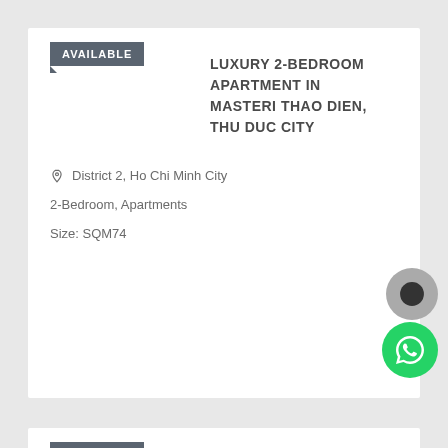AVAILABLE  LUXURY 2-BEDROOM APARTMENT IN MASTERI THAO DIEN, THU DUC CITY
District 2, Ho Chi Minh City
2-Bedroom, Apartments
Size: SQM74
AVAILABLE  HIGH-CLASS 2-BEDROOM APARTMENT IN EMPIRE CITY – LINDEN TOWER, THU DUC CITY
District 2, Ho Chi Minh City
2-Bedroom, Apartments
Size: SQM93